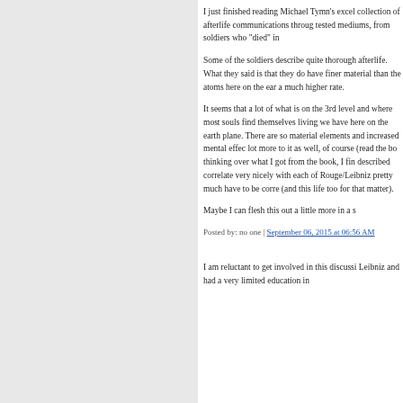I just finished reading Michael Tymn's excel collection of afterlife communications throug tested mediums, from soldiers who "died" in...
Some of the soldiers describe quite thorough afterlife. What they said is that they do have finer material than the atoms here on the ear a much higher rate.
It seems that a lot of what is on the 3rd level and where most souls find themselves living we have here on the earth plane. There are so material elements and increased mental effect lot more to it as well, of course (read the bo thinking over what I got from the book, I fin described correlate very nicely with each of Rouge/Leibniz pretty much have to be corre (and this life too for that matter).
Maybe I can flesh this out a little more in a s
Posted by: no one | September 06, 2015 at 06:56 AM
I am reluctant to get involved in this discussi Leibniz and had a very limited education in...